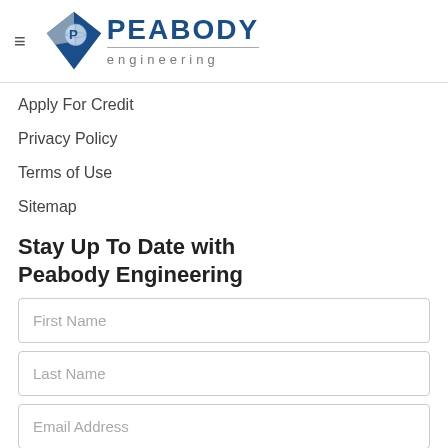[Figure (logo): Peabody Engineering logo with blue diamond shape containing a 'P' and globe, with 'PEABODY engineering' text]
Apply For Credit
Privacy Policy
Terms of Use
Sitemap
Stay Up To Date with Peabody Engineering
First Name
Last Name
Email Address